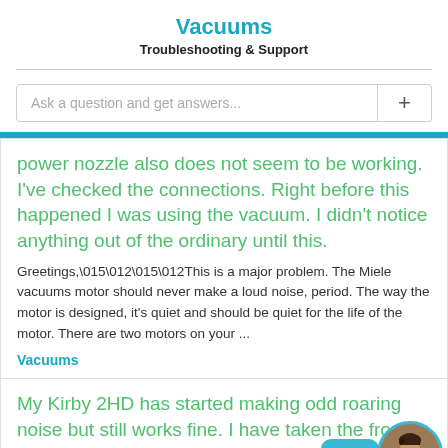Vacuums
Troubleshooting & Support
Ask a question and get answers...
power nozzle also does not seem to be working. I've checked the connections. Right before this happened I was using the vacuum. I didn't notice anything out of the ordinary until this.
Greetings,\015\012\015\012This is a major problem. The Miele vacuums motor should never make a loud noise, period. The way the motor is designed, it's quiet and should be quiet for the life of the motor. There are two motors on your ...
Vacuums
My Kirby 2HD has started making odd roaring noise but still works fine. I have taken the front assembly off and